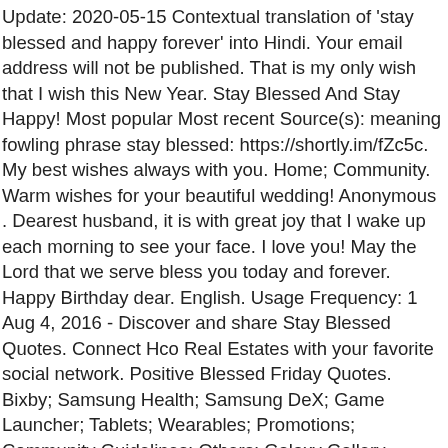Update: 2020-05-15 Contextual translation of 'stay blessed and happy forever' into Hindi. Your email address will not be published. That is my only wish that I wish this New Year. Stay Blessed And Stay Happy! Most popular Most recent Source(s): meaning fowling phrase stay blessed: https://shortly.im/fZc5c. My best wishes always with you. Home; Community. Warm wishes for your beautiful wedding! Anonymous . Dearest husband, it is with great joy that I wake up each morning to see your face. I love you! May the Lord that we serve bless you today and forever. Happy Birthday dear. English. Usage Frequency: 1 Aug 4, 2016 - Discover and share Stay Blessed Quotes. Connect Hco Real Estates with your favorite social network. Positive Blessed Friday Quotes. Bixby; Samsung Health; Samsung DeX; Game Launcher; Tablets; Wearables; Promotions; Community Guidelines; Others; Galaxy Gallery. Wishing a very Happy Birthday to such an amazing friend of mine. With God blessings, forever you succeed and forever your family remains blessed and healthy. How do you think about the answers? Quality: Have a wonderful day ahead.